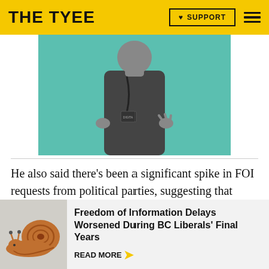THE TYEE | ♥ SUPPORT
[Figure (photo): Black and white photo of a person wearing a lanyard, against a teal/green background, appearing to gesture with their hands.]
He also said there's been a significant spike in FOI requests from political parties, suggesting that those requests are out of step with the way the process was intended to be used.
[Figure (photo): Photo of a brown garden snail on a light surface.]
Freedom of Information Delays Worsened During BC Liberals' Final Years
READ MORE →